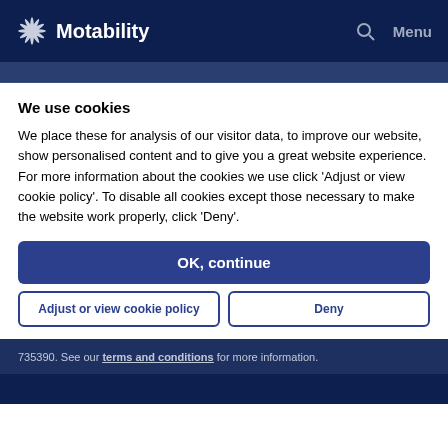Motability — Search | Menu
We use cookies
We place these for analysis of our visitor data, to improve our website, show personalised content and to give you a great website experience. For more information about the cookies we use click 'Adjust or view cookie policy'. To disable all cookies except those necessary to make the website work properly, click 'Deny'.
OK, continue
Adjust or view cookie policy
Deny
735390. See our terms and conditions for more information.